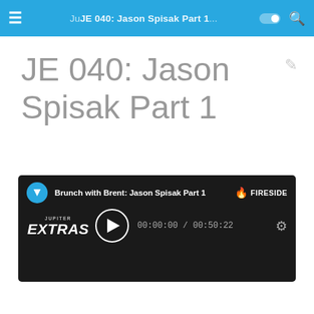JE 040: Jason Spisak Part 1...
JE 040: Jason Spisak Part 1
[Figure (screenshot): Fireside audio podcast player widget with dark background showing 'Brunch with Brent: Jason Spisak Part 1', play button, timestamp 00:00:00 / 00:50:22, and Jupiter Extras logo]